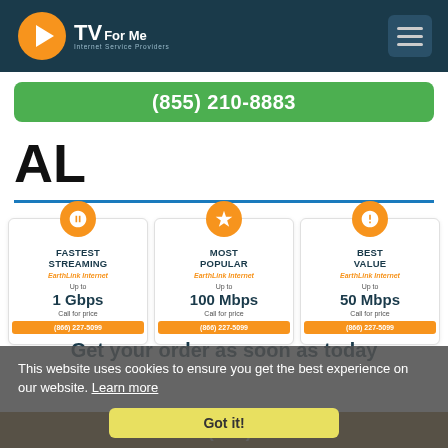[Figure (logo): CTVForMe Internet Service Providers logo with orange C and play button icon]
(855) 210-8883
AL
[Figure (infographic): Three pricing cards: Fastest Streaming (EarthLink Internet, Up to 1 Gbps, Call for price, (866) 227-5099), Most Popular (EarthLink Internet, Up to 100 Mbps, Call for price, (866) 227-5099), Best Value (EarthLink Internet, Up to 50 Mbps, Call for price, (866) 227-5099)]
This website uses cookies to ensure you get the best experience on our website. Learn more
Got it!
Get your order as soon as today
Call Now : (866) 227-5099